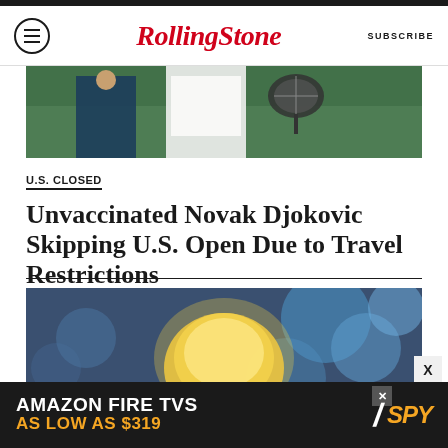RollingStone — SUBSCRIBE
[Figure (photo): Partial photo of a tennis player in white holding a racket, against a green background (top portion of image, cropped)]
U.S. CLOSED
Unvaccinated Novak Djokovic Skipping U.S. Open Due to Travel Restrictions
BY DANIEL KREPS
[Figure (photo): Photo with blue bokeh lights in background and a blond figure in the foreground]
[Figure (other): Advertisement banner: AMAZON FIRE TVS AS LOW AS $319 — SPY logo]